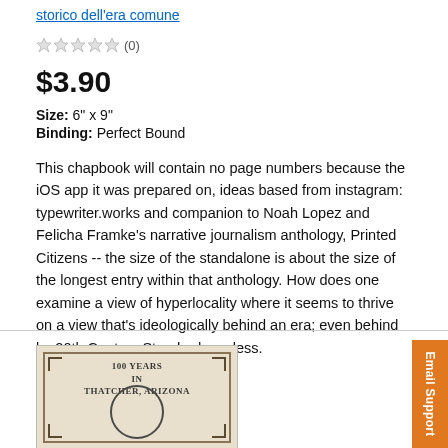storico dell'era comune
☆☆☆☆☆ (0)
$3.90
Size: 6" x 9"
Binding: Perfect Bound
This chapbook will contain no page numbers because the iOS app it was prepared on, ideas based from instagram: typewriter.works and companion to Noah Lopez and Felicha Framke's narrative journalism anthology, Printed Citizens -- the size of the standalone is about the size of the longest entry within that anthology. How does one examine a view of hyperlocality where it seems to thrive on a view that's ideologically behind an era; even behind by 20th Century Standards no less.
[Figure (illustration): Book cover showing '100 YEARS IN THATCHER, ARIZONA' with decorative border and a circular emblem at the bottom, on a beige/tan background.]